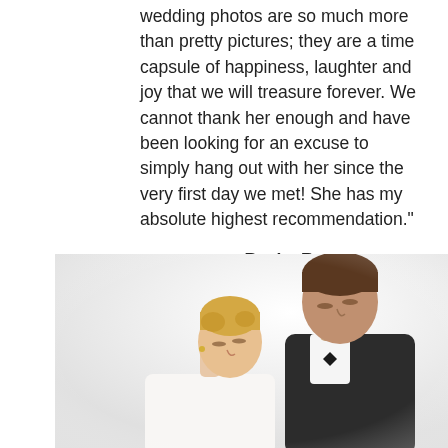wedding photos are so much more than pretty pictures; they are a time capsule of happiness, laughter and joy that we will treasure forever. We cannot thank her enough and have been looking for an excuse to simply hang out with her since the very first day we met! She has my absolute highest recommendation."
Becky R
[Figure (photo): Wedding photo showing a couple kissing — a groom in a dark suit and bow tie leaning down toward a blonde bride, shot against a light/white background, cropped to show upper bodies and heads.]